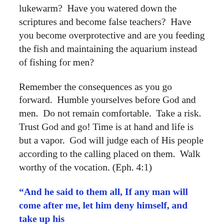lukewarm?  Have you watered down the scriptures and become false teachers?  Have you become overprotective and are you feeding the fish and maintaining the aquarium instead of fishing for men?
Remember the consequences as you go forward.  Humble yourselves before God and men.  Do not remain comfortable.  Take a risk.  Trust God and go! Time is at hand and life is but a vapor.  God will judge each of His people according to the calling placed on them.  Walk worthy of the vocation. (Eph. 4:1)
“And he said to them all, If any man will come after me, let him deny himself, and take up his